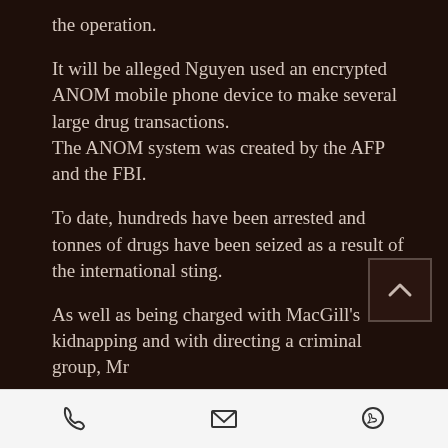the operation.
It will be alleged Nguyen used an encrypted ANOM mobile phone device to make several large drug transactions. The ANOM system was created by the AFP and the FBI.
To date, hundreds have been arrested and tonnes of drugs have been seized as a result of the international sting.
As well as being charged with MacGill's kidnapping and with directing a criminal group, Mr
Phone | Email | WhatsApp